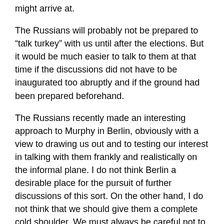might arrive at.
The Russians will probably not be prepared to “talk turkey” with us until after the elections. But it would be much easier to talk to them at that time if the discussions did not have to be inaugurated too abruptly and if the ground had been prepared beforehand.
The Russians recently made an interesting approach to Murphy in Berlin, obviously with a view to drawing us out and to testing our interest in talking with them frankly and realistically on the informal plane. I do not think Berlin a desirable place for the pursuit of further discussions of this sort. On the other hand, I do not think that we should give them a complete cold shoulder. We must always be careful not to give discouragement to people in the Kremlin who may urge the desirability of better understanding with us.